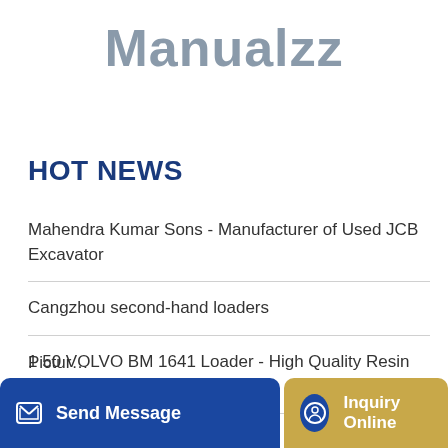Manualzz
HOT NEWS
Mahendra Kumar Sons - Manufacturer of Used JCB Excavator
Cangzhou second-hand loaders
1 50 VOLVO BM 1641 Loader - High Quality Resin Kit by Fankit
Pictur…
Send Message
Inquiry Online